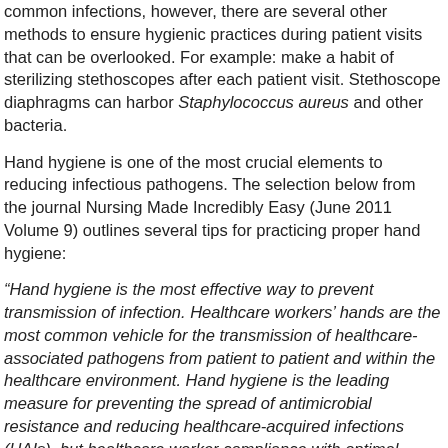common infections, however, there are several other methods to ensure hygienic practices during patient visits that can be overlooked. For example: make a habit of sterilizing stethoscopes after each patient visit. Stethoscope diaphragms can harbor Staphylococcus aureus and other bacteria.
Hand hygiene is one of the most crucial elements to reducing infectious pathogens. The selection below from the journal Nursing Made Incredibly Easy (June 2011 Volume 9) outlines several tips for practicing proper hand hygiene:
“Hand hygiene is the most effective way to prevent transmission of infection. Healthcare workers’ hands are the most common vehicle for the transmission of healthcare-associated pathogens from patient to patient and within the healthcare environment. Hand hygiene is the leading measure for preventing the spread of antimicrobial resistance and reducing healthcare-acquired infections (HAIs), but healthcare worker compliance with optimal practices remains low in most settings.”